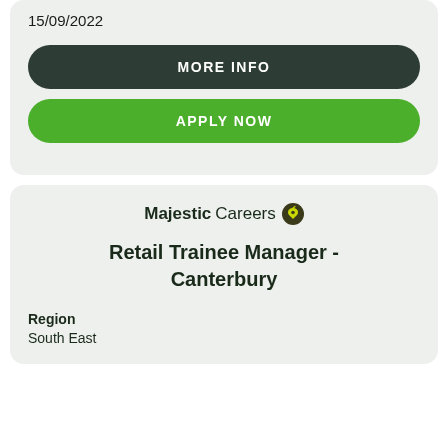15/09/2022
MORE INFO
APPLY NOW
[Figure (logo): Majestic Careers logo with grape icon]
Retail Trainee Manager - Canterbury
Region
South East